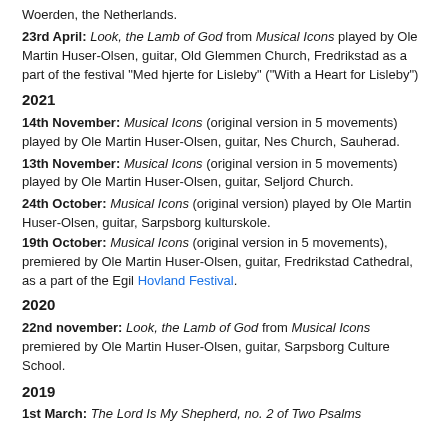Woerden, the Netherlands.
23rd April: Look, the Lamb of God from Musical Icons played by Ole Martin Huser-Olsen, guitar, Old Glemmen Church, Fredrikstad as a part of the festival "Med hjerte for Lisleby" ("With a Heart for Lisleby")
2021
14th November: Musical Icons (original version in 5 movements) played by Ole Martin Huser-Olsen, guitar, Nes Church, Sauherad.
13th November: Musical Icons (original version in 5 movements) played by Ole Martin Huser-Olsen, guitar, Seljord Church.
24th October: Musical Icons (original version) played by Ole Martin Huser-Olsen, guitar, Sarpsborg kulturskole.
19th October: Musical Icons (original version in 5 movements), premiered by Ole Martin Huser-Olsen, guitar, Fredrikstad Cathedral, as a part of the Egil Hovland Festival.
2020
22nd november: Look, the Lamb of God from Musical Icons premiered by Ole Martin Huser-Olsen, guitar, Sarpsborg Culture School.
2019
1st March: The Lord Is My Shepherd, no. 2 of Two Psalms...